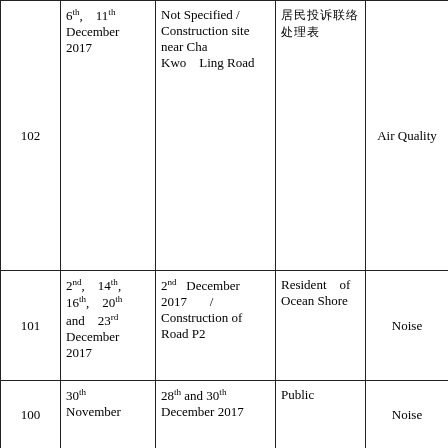| # | Date | Location/Source | Complainant | Category |
| --- | --- | --- | --- | --- |
| 102 | 6th, 11th December 2017 | Not Specified / Construction site near Cha Kwo Ling Road | （Chinese characters） | Air Quality |
| 101 | 2nd, 14th, 16th, 20th and 23rd December 2017 | 2nd December 2017 / Construction of Road P2 | Resident of Ocean Shore | Noise |
| 100 | 30th November | 28th and 30th December 2017 ... | Public | Noise |